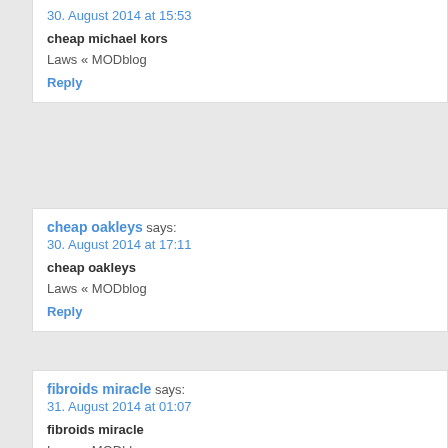30. August 2014 at 15:53
cheap michael kors
Laws « MODblog
Reply
cheap oakleys says:
30. August 2014 at 17:11
cheap oakleys
Laws « MODblog
Reply
fibroids miracle says:
31. August 2014 at 01:07
fibroids miracle
Laws « MODblog
Reply
http://www.symmastiabreastrepair.com/?id=306 says:
31. August 2014 at 06:35
http://www.symmastiabreastrepair.com/?id=306